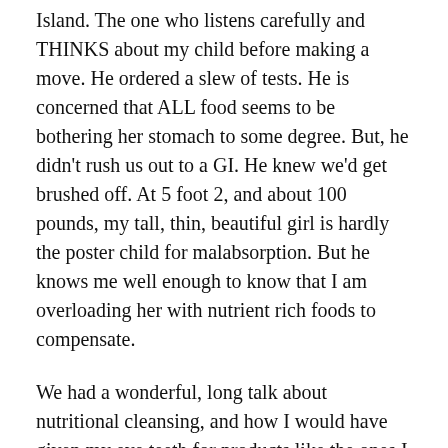Island. The one who listens carefully and THINKS about my child before making a move. He ordered a slew of tests. He is concerned that ALL food seems to be bothering her stomach to some degree. But, he didn't rush us out to a GI. He knew we'd get brushed off. At 5 foot 2, and about 100 pounds, my tall, thin, beautiful girl is hardly the poster child for malabsorption. But he knows me well enough to know that I am overloading her with nutrient rich foods to compensate.
We had a wonderful, long talk about nutritional cleansing, and how I would have given my eye teeth for products like the ones I use now to have been on the market 9 years ago when I began my journey with Meghan. He will look, and sample. We will talk.
But, he no longer blames one food for Meghan's pain.